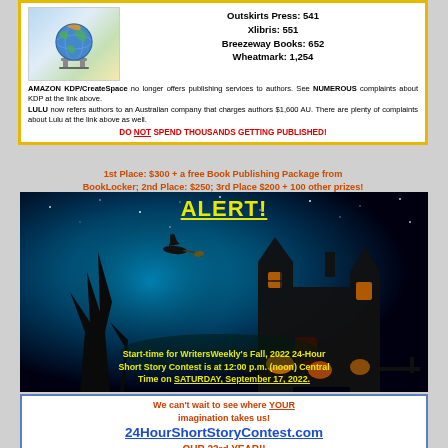[Figure (infographic): Yellow-bordered white box with a globe/chair image on left and publisher complaint numbers on right, followed by warning text about Amazon KDP/CreateSpace and LULU, ending with red bold alert text.]
Outskirts Press: 541
Xlibris: 551
Breezeway Books: 652
Wheatmark: 1,254
AMAZON KDP/CreateSpace no longer offers publishing services to authors. See NUMEROUS complaints about KDP at the link above. LULU now refers authors to an Australian company that charges authors $1,600 AU. There are plenty of complaints about Lulu at the link above as well.
DO NOT SPEND THOUSANDS GETTING PUBLISHED!
1st Place: $300 + a free Book Publishing Package from BookLocker; 2nd Place: $250; 3rd Place $200 + 100 other prizes!
[Figure (illustration): Halloween-themed dark image with haunted house, witch flying, starry sky, and glowing jack-o-lanterns. ALERT! text at top in yellow, and contest start-time text at bottom in yellow.]
ALERT!
Start-time for WritersWeekly's Fall, 2022 24-Hour Short Story Contest is at 12:00 p.m. (noon) Central Time on SATURDAY, September 17, 2022.
We can't wait to see where YOUR imagination takes us!
24HourShortStoryContest.com
OUR 23rd YEAR!!